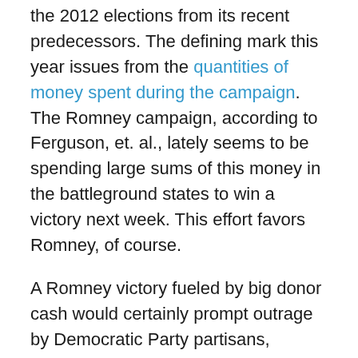the 2012 elections from its recent predecessors. The defining mark this year issues from the quantities of money spent during the campaign. The Romney campaign, according to Ferguson, et. al., lately seems to be spending large sums of this money in the battleground states to win a victory next week. This effort favors Romney, of course.
A Romney victory fueled by big donor cash would certainly prompt outrage by Democratic Party partisans, although their rage would obscure the massive amounts of money raised and spent by the 2012 and 2008 Obama campaigns. The Democratic Party lacks clean hands in this matter. It, like the Republican Party, serves as a tool of Wall Street, the security-surveillance apparatus and, in a word, the empire. Thus the cries of the partisans ought to be considered mere hypocrisy rendered into obscure